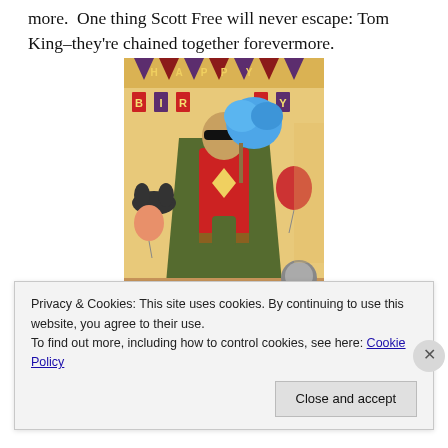more. One thing Scott Free will never escape: Tom King–they're chained together forevermore.
[Figure (illustration): Comic book illustration of a superhero character in red and green costume at a birthday party with 'HAPPY BIRTHDAY' banner, blue cotton candy, Batman logos, and balloons in the background.]
Privacy & Cookies: This site uses cookies. By continuing to use this website, you agree to their use. To find out more, including how to control cookies, see here: Cookie Policy